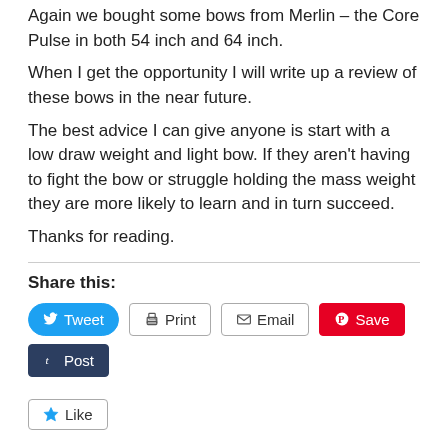Again we bought some bows from Merlin – the Core Pulse in both 54 inch and 64 inch.
When I get the opportunity I will write up a review of these bows in the near future.
The best advice I can give anyone is start with a low draw weight and light bow. If they aren't having to fight the bow or struggle holding the mass weight they are more likely to learn and in turn succeed.
Thanks for reading.
Share this:
Tweet | Print | Email | Save | Post